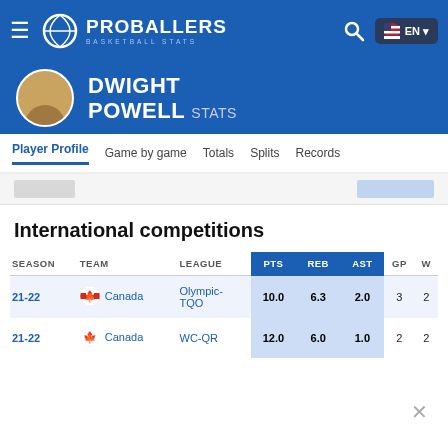PROBALLERS BASKETBALL STATS — EN
DWIGHT POWELL STATS
Player Profile | Game by game | Totals | Splits | Records
International competitions
| SEASON | TEAM | LEAGUE | PTS | REB | AST | GP | W |
| --- | --- | --- | --- | --- | --- | --- | --- |
| 21-22 | Canada | Olympic-TQO | 10.0 | 6.3 | 2.0 | 3 | 2 |
| 21-22 | Canada | WC-QR | 12.0 | 6.0 | 1.0 | 2 | 2 |